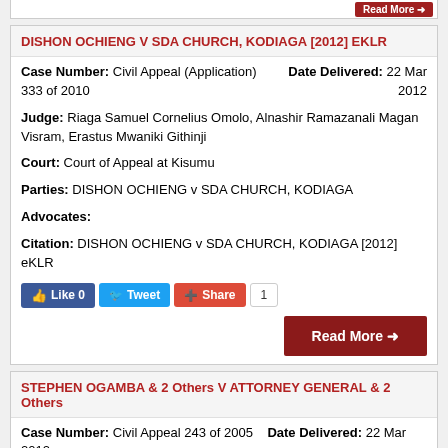DISHON OCHIENG V SDA CHURCH, KODIAGA [2012] EKLR
Case Number: Civil Appeal (Application) 333 of 2010   Date Delivered: 22 Mar 2012
Judge: Riaga Samuel Cornelius Omolo, Alnashir Ramazanali Magan Visram, Erastus Mwaniki Githinji
Court: Court of Appeal at Kisumu
Parties: DISHON OCHIENG v SDA CHURCH, KODIAGA
Advocates:
Citation: DISHON OCHIENG v SDA CHURCH, KODIAGA [2012] eKLR
[Figure (infographic): Social share buttons: Like 0 (Facebook blue), Tweet (Twitter blue), Share (Google+ red), count badge showing 1; Read More button (dark red)]
STEPHEN OGAMBA & 2 Others V ATTORNEY GENERAL & 2 Others
Case Number: Civil Appeal 243 of 2005   Date Delivered: 22 Mar 2012